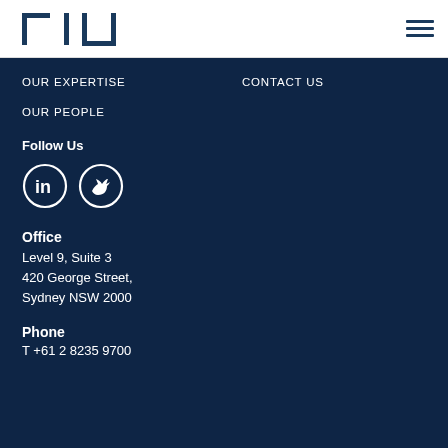[Figure (logo): Company logo: stylized bracket/angular letter shapes in dark navy blue, resembling 'CIL' or similar]
[Figure (other): Hamburger menu icon (three horizontal lines) in dark navy blue, top right]
OUR EXPERTISE
CONTACT US
OUR PEOPLE
Follow Us
[Figure (logo): LinkedIn circle icon (white 'in' on dark navy circle outline)]
[Figure (logo): Twitter circle icon (white bird on dark navy circle outline)]
Office
Level 9, Suite 3
420 George Street,
Sydney NSW 2000
Phone
T +61 2 8235 9700